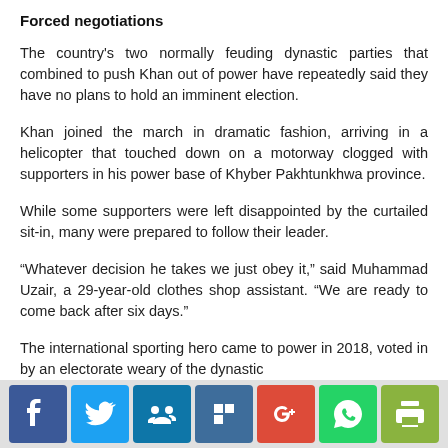Forced negotiations
The country's two normally feuding dynastic parties that combined to push Khan out of power have repeatedly said they have no plans to hold an imminent election.
Khan joined the march in dramatic fashion, arriving in a helicopter that touched down on a motorway clogged with supporters in his power base of Khyber Pakhtunkhwa province.
While some supporters were left disappointed by the curtailed sit-in, many were prepared to follow their leader.
“Whatever decision he takes we just obey it,” said Muhammad Uzair, a 29-year-old clothes shop assistant. “We are ready to come back after six days.”
The international sporting hero came to power in 2018, voted in by an electorate weary of the dynastic
Social share icons: Facebook, Twitter, LinkedIn, Flipboard, Google+, WhatsApp, Print